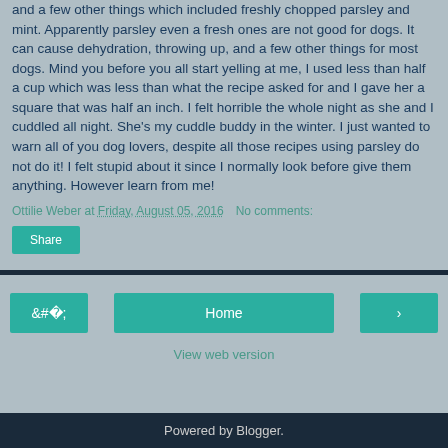and a few other things which included freshly chopped parsley and mint. Apparently parsley even a fresh ones are not good for dogs. It can cause dehydration, throwing up, and a few other things for most dogs. Mind you before you all start yelling at me, I used less than half a cup which was less than what the recipe asked for and I gave her a square that was half an inch. I felt horrible the whole night as she and I cuddled all night. She's my cuddle buddy in the winter. I just wanted to warn all of you dog lovers, despite all those recipes using parsley do not do it! I felt stupid about it since I normally look before give them anything. However learn from me!
Ottilie Weber at Friday, August 05, 2016   No comments:
Share
Home
View web version
Powered by Blogger.